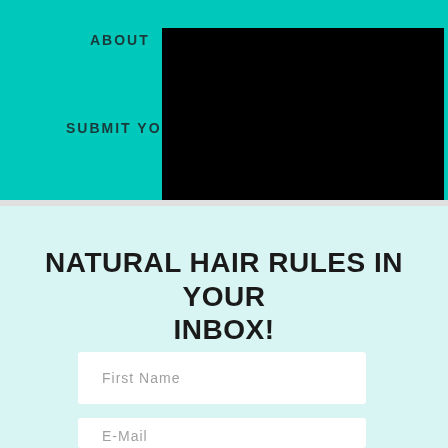ABOUT
SUBMIT YOU
[Figure (screenshot): Black rectangle overlay covering right portion of teal header navigation area]
NATURAL HAIR RULES IN YOUR INBOX!
First Name
E-Mail